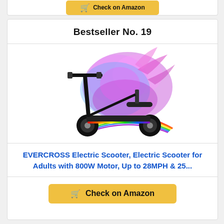Check on Amazon
Bestseller No. 19
[Figure (photo): EVERCROSS electric scooter with colorful powder explosion background and rainbow under wheels]
EVERCROSS Electric Scooter, Electric Scooter for Adults with 800W Motor, Up to 28MPH & 25...
Check on Amazon